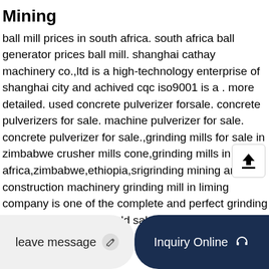Mining
ball mill prices in south africa. south africa ball generator prices ball mill. shanghai cathay machinery co.,ltd is a high-technology enterprise of shanghai city and achived cqc iso9001 is a . more detailed. used concrete pulverizer forsale. concrete pulverizers for sale. machine pulverizer for sale. concrete pulverizer for sale.,grinding mills for sale in zimbabwe crusher mills cone,grinding mills in south africa,zimbabwe,ethiopia,srigrinding mining and construction machinery grinding mill in liming company is one of the complete and perfect grinding mill suppliers in the world sale grinding mill
Milling ABC Hansen Africa Provides Maize Mills
large scale. 3 ton per hour 75 ton per day and larger
leave message
Inquiry Online